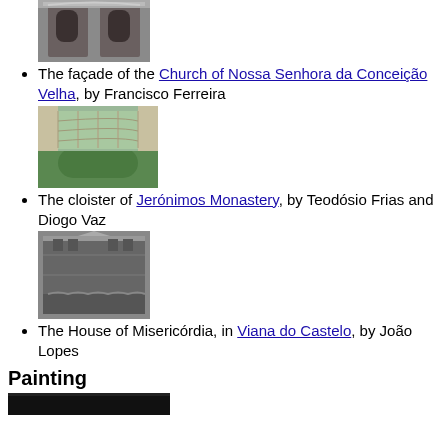The façade of the Church of Nossa Senhora da Conceição Velha, by Francisco Ferreira
[Figure (photo): Facade of the Church of Nossa Senhora da Conceição Velha]
The cloister of Jerónimos Monastery, by Teodósio Frias and Diogo Vaz
[Figure (photo): Cloister of Jerónimos Monastery aerial view with green lawn]
The House of Misericórdia, in Viana do Castelo, by João Lopes
[Figure (photo): House of Misericórdia building facade]
Painting
[Figure (photo): Painting image (partially visible, dark)]